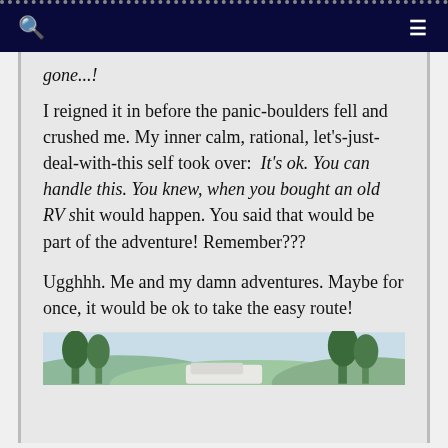gone...!
I reigned it in before the panic-boulders fell and crushed me. My inner calm, rational, let's-just-deal-with-this self took over:  It's ok. You can handle this. You knew, when you bought an old RV shit would happen. You said that would be part of the adventure! Remember???
Ugghhh. Me and my damn adventures. Maybe for once, it would be ok to take the easy route!
[Figure (photo): Outdoor photo showing trees and sky, partially visible at bottom of page]